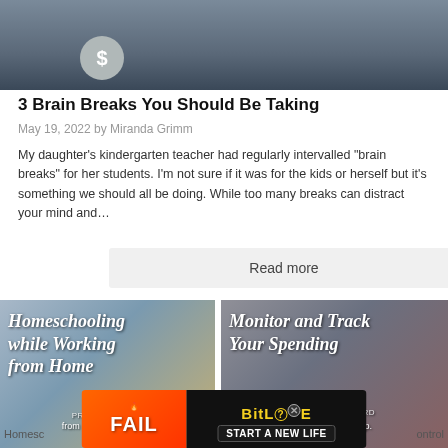[Figure (photo): Dark background hero image with a coin showing dollar sign symbol at bottom left]
3 Brain Breaks You Should Be Taking
May 19, 2022 by Miranda Grimm
My daughter's kindergarten teacher had regularly intervalled “brain breaks” for her students. I’m not sure if it was for the kids or herself but it’s something we should all be doing. While too many breaks can distract your mind and…
Read more
[Figure (photo): Homeschooling while Working from Home - Practical tips from a mother of three]
[Figure (photo): Monitor and Track Your Spending - with DollarBird, a smartphone app.]
Homesc
ontrol
[Figure (screenshot): BitLife advertisement banner - FAIL, START A NEW LIFE]